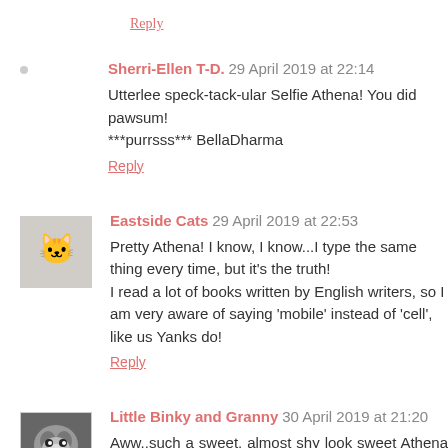Reply
Sherri-Ellen T-D. 29 April 2019 at 22:14
Utterlee speck-tack-ular Selfie Athena! You did pawsum! ***purrsss*** BellaDharma
Reply
Eastside Cats 29 April 2019 at 22:53
Pretty Athena! I know, I know...I type the same thing every time, but it's the truth!
I read a lot of books written by English writers, so I am very aware of saying 'mobile' instead of 'cell', like us Yanks do!
Reply
Little Binky and Granny 30 April 2019 at 21:20
Aww..such a sweet, almost shy look sweet Athena❤Grass is yummy for the tummy. We totally agree with the